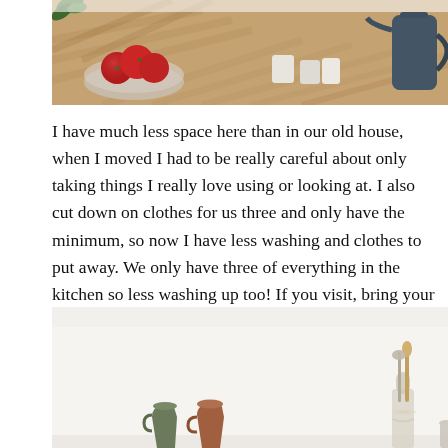[Figure (photo): Kitchen counter with red apples in a bowl, cups/mugs, and a dark blue/grey electric kettle on a wooden herringbone-pattern countertop]
I have much less space here than in our old house, when I moved I had to be really careful about only taking things I really love using or looking at. I also cut down on clothes for us three and only have the minimum, so now I have less washing and clothes to put away. We only have three of everything in the kitchen so less washing up too! If you visit, bring your own mug/plate/towel/fork.
[Figure (photo): Minimalist kitchen shelf with various ceramic jugs, a glass bottle with utensils, a white canister labeled 'coco', and a dark brown bowl arranged against a white wall]